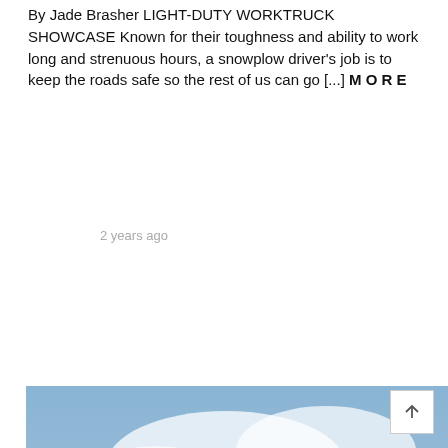By Jade Brasher LIGHT-DUTY WORKTRUCK SHOWCASE Known for their toughness and ability to work long and strenuous hours, a snowplow driver's job is to keep the roads safe so the rest of us can go [...] MORE
2 years ago
[Figure (photo): A red truck cab in the foreground with a large pile of gravel/crushed stone behind it and a partly cloudy blue sky above. A conveyor belt or crane structure is visible on the left side.]